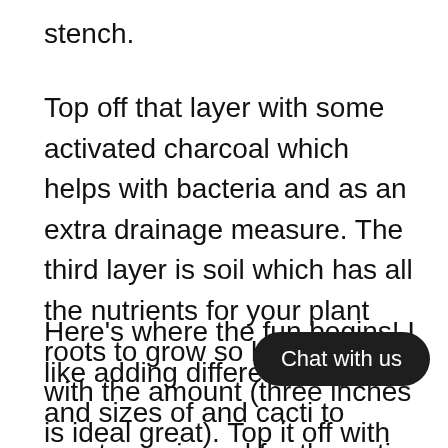stench.
Top off that layer with some activated charcoal which helps with bacteria and as an extra drainage measure. The third layer is soil which has all the nutrients for your plant roots to grow so be generous with the amount (three inches is ideal great). Top it off with some pebbles and you're done with the tedious bit.
Here's where the fun begins! I like adding different shapes and sizes of and cacti to create a mix and for the entire terrarium. Always start from